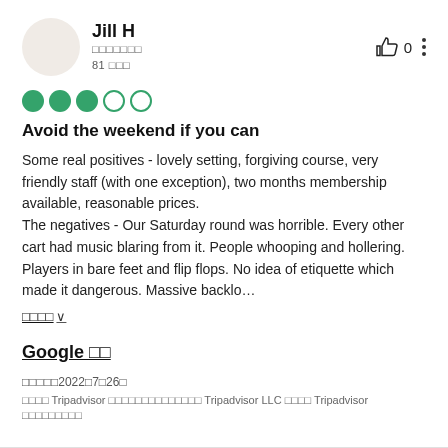Jill H
□□□□□□□
81 □□□
Avoid the weekend if you can
Some real positives - lovely setting, forgiving course, very friendly staff (with one exception), two months membership available, reasonable prices.
The negatives - Our Saturday round was horrible. Every other cart had music blaring from it. People whooping and hollering. Players in bare feet and flip flops. No idea of etiquette which made it dangerous. Massive backlo…
□□□□ ∨
Google □□
□□□□□2022□7□26□
□□□□ Tripadvisor □□□□□□□□□□□□□□ Tripadvisor LLC □□□□ Tripadvisor □□□□□□□□□